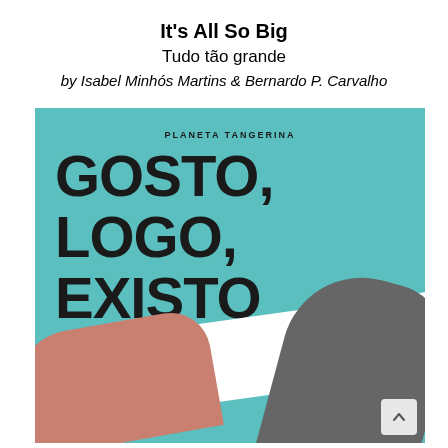It's All So Big
Tudo tão grande
by Isabel Minhós Martins & Bernardo P. Carvalho
[Figure (illustration): Book cover of 'Gosto, Logo Existo' published by Planeta Tangerina, by Isabel Minhós Martins and Bernardo P. Carvalho. Teal/cyan background with large bold black handwritten text reading 'GOSTO, LOGO, EXISTO'. Bottom portion shows abstract shapes in white, gray/charcoal, and salmon/peach tones suggesting figures or forms. Small navigation arrow visible bottom right.]